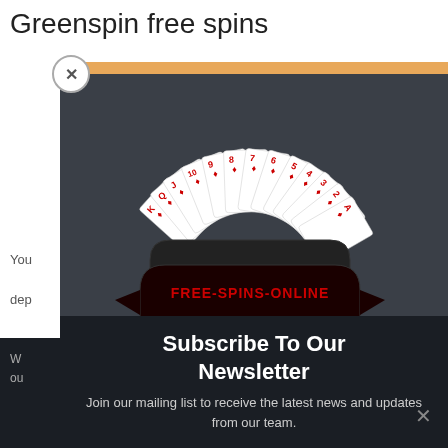Greenspin free spins
[Figure (illustration): A popup modal overlay on a webpage. The modal contains a casino logo graphic: a fan of playing cards (K Q J 10 9 8 7 6 5 4 3 2 A of diamonds) arranged in an arc above a dark shield/banner emblem labeled FREE-SPINS-ONLINE in red text on a black ribbon, with gold stars arranged in a decorative row. Below the logo is a newsletter subscription prompt.]
Subscribe To Our Newsletter
Join our mailing list to receive the latest news and updates from our team.